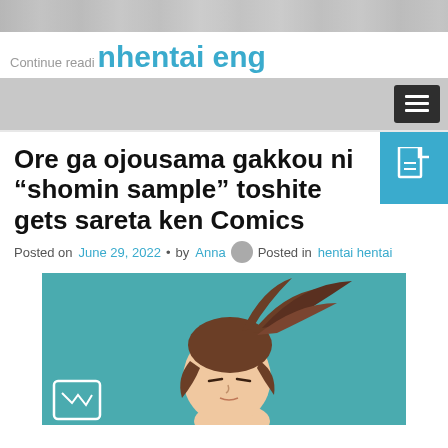[Figure (screenshot): Top banner image placeholder, blurred manga/anime content]
Continue reading nhentai eng
[Figure (screenshot): Navigation bar with hamburger menu button on the right]
Ore ga ojousama gakkou ni "shomin sample" toshite gets sareta ken Comics
Posted on June 29, 2022 • by Anna Posted in hentai hentai
[Figure (illustration): Anime/manga character illustration — brunette character with spiky hair on teal/turquoise background, with a logo in the bottom left corner]